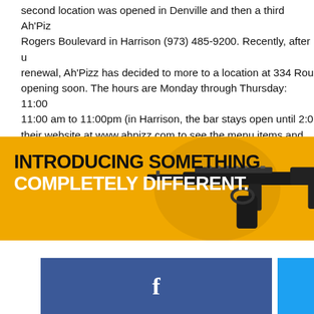second location was opened in Denville and then a third Ah'Pizz at Rogers Boulevard in Harrison (973) 485-9200. Recently, after u renewal, Ah'Pizz has decided to more to a location at 334 Rou opening soon. The hours are Monday through Thursday: 11:00 11:00 am to 11:00pm (in Harrison, the bar stays open until 2:0 their website at www.ahpizz.com to see the menu items and without leaving New Jersey.
[Figure (infographic): Yellow advertisement banner reading 'INTRODUCING SOMETHING COMPLETELY DIFFERENT.' with an image of a firearm/rifle on the right side.]
[Figure (infographic): Dark blue Facebook share button with white 'f' icon, and a cyan/light blue Twitter button partially visible on the right.]